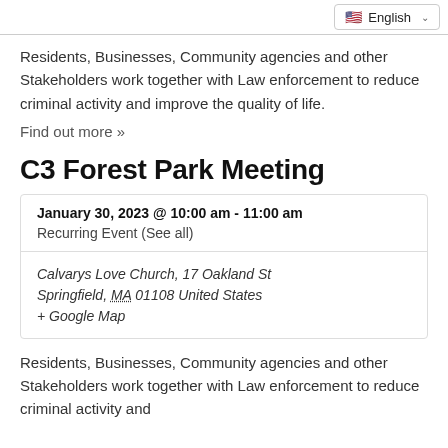English
Residents, Businesses, Community agencies and other Stakeholders work together with Law enforcement to reduce criminal activity and improve the quality of life.
Find out more »
C3 Forest Park Meeting
| January 30, 2023 @ 10:00 am - 11:00 am | Recurring Event (See all) |
| Calvarys Love Church, 17 Oakland St Springfield, MA 01108 United States + Google Map |  |
Residents, Businesses, Community agencies and other Stakeholders work together with Law enforcement to reduce criminal activity and